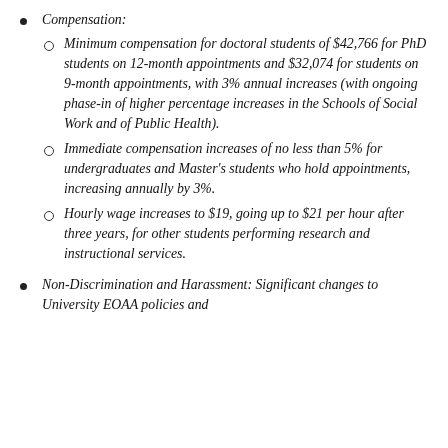Compensation:
Minimum compensation for doctoral students of $42,766 for PhD students on 12-month appointments and $32,074 for students on 9-month appointments, with 3% annual increases (with ongoing phase-in of higher percentage increases in the Schools of Social Work and of Public Health).
Immediate compensation increases of no less than 5% for undergraduates and Master's students who hold appointments, increasing annually by 3%.
Hourly wage increases to $19, going up to $21 per hour after three years, for other students performing research and instructional services.
Non-Discrimination and Harassment: Significant changes to University EOAA policies and